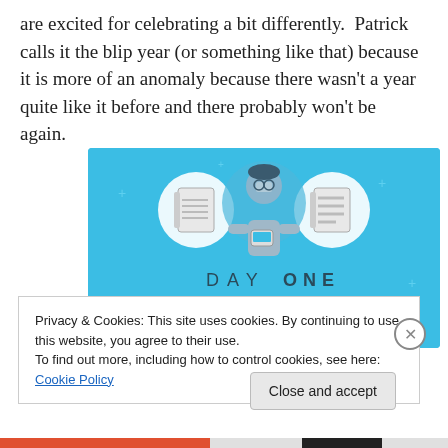are excited for celebrating a bit differently. Patrick calls it the blip year (or something like that) because it is more of an anomaly because there wasn't a year quite like it before and there probably won't be again.
[Figure (illustration): Day One journaling app advertisement on a blue background, showing an illustrated person holding a phone with two notebook icons on either side. Text reads 'DAY ONE' and 'The only journaling app you'll ever need.']
Privacy & Cookies: This site uses cookies. By continuing to use this website, you agree to their use.
To find out more, including how to control cookies, see here: Cookie Policy
Close and accept